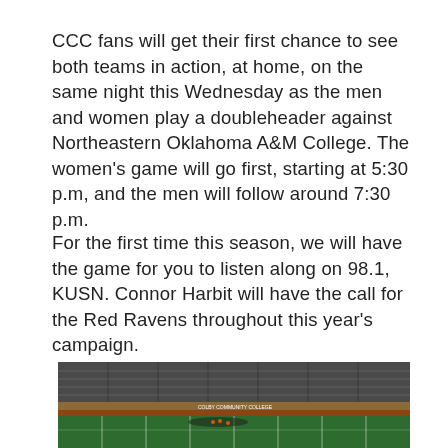CCC fans will get their first chance to see both teams in action, at home, on the same night this Wednesday as the men and women play a doubleheader against Northeastern Oklahoma A&M College. The women's game will go first, starting at 5:30 p.m, and the men will follow around 7:30 p.m.
For the first time this season, we will have the game for you to listen along on 98.1, KUSN. Connor Harbit will have the call for the Red Ravens throughout this year's campaign.
[Figure (photo): Aerial view of a football stadium field with players on the field and bleachers/grandstand visible in the background.]